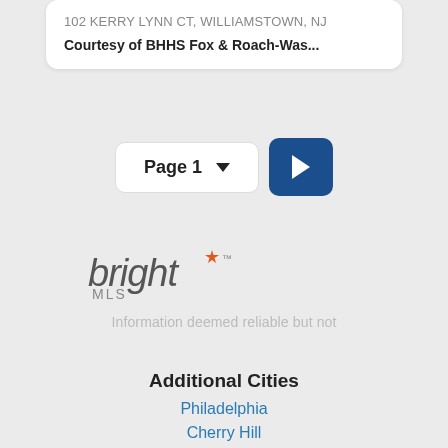102 KERRY LYNN CT, WILLIAMSTOWN, NJ
Courtesy of BHHS Fox & Roach-Was...
Page 1
[Figure (other): Navigation next page button (dark blue with right chevron arrow)]
[Figure (logo): Bright MLS logo with orange star/sparkle accent]
Information deemed reliable but not
Additional Cities
Philadelphia
Cherry Hill